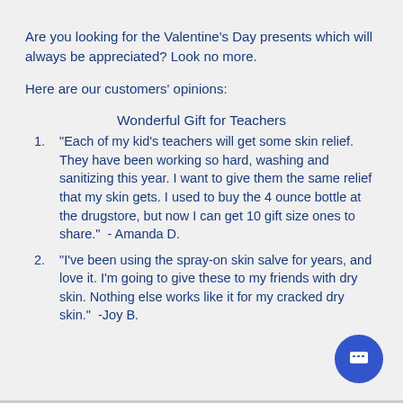Are you looking for the Valentine's Day presents which will always be appreciated? Look no more.
Here are our customers' opinions:
Wonderful Gift for Teachers
"Each of my kid's teachers will get some skin relief. They have been working so hard, washing and sanitizing this year. I want to give them the same relief that my skin gets. I used to buy the 4 ounce bottle at the drugstore, but now I can get 10 gift size ones to share."  - Amanda D.
"I've been using the spray-on skin salve for years, and love it. I'm going to give these to my friends with dry skin. Nothing else works like it for my cracked dry skin."  -Joy B.